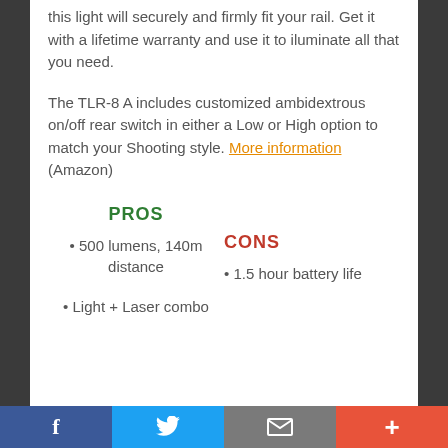this light will securely and firmly fit your rail. Get it with a lifetime warranty and use it to iluminate all that you need.
The TLR-8 A includes customized ambidextrous on/off rear switch in either a Low or High option to match your Shooting style. More information (Amazon)
PROS
CONS
500 lumens, 140m distance
1.5 hour battery life
Light + Laser combo
f  [Twitter bird]  [envelope]  +